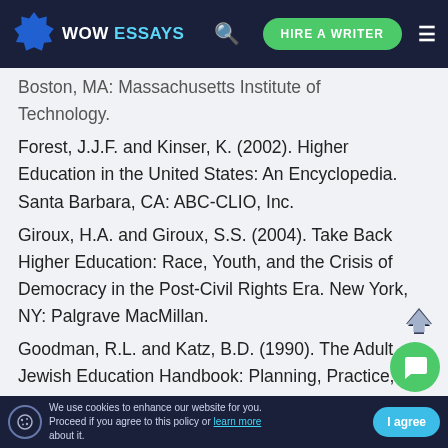WOW ESSAYS — website header with logo, search, HIRE A WRITER button, and menu
Boston, MA: Massachusetts Institute of Technology.
Forest, J.J.F. and Kinser, K. (2002). Higher Education in the United States: An Encyclopedia. Santa Barbara, CA: ABC-CLIO, Inc.
Giroux, H.A. and Giroux, S.S. (2004). Take Back Higher Education: Race, Youth, and the Crisis of Democracy in the Post-Civil Rights Era. New York, NY: Palgrave MacMillan.
Goodman, R.L. and Katz, B.D. (1990). The Adult Jewish Education Handbook: Planning, Practice, and Theory. Springfield, NJ: Behr
We use cookies to enhance our website for you. Proceed if you agree to this policy or learn more about it. | I agree